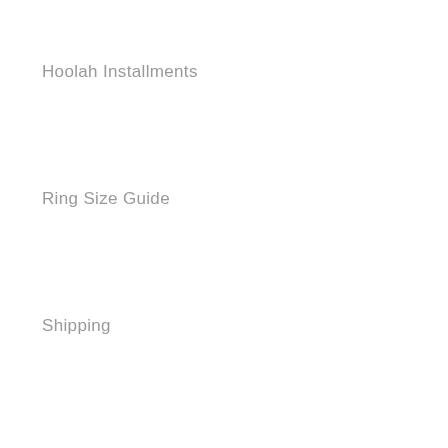Hoolah Installments
Ring Size Guide
Shipping
Product Care
Return Policy
Contact Us
Our Company
About Us